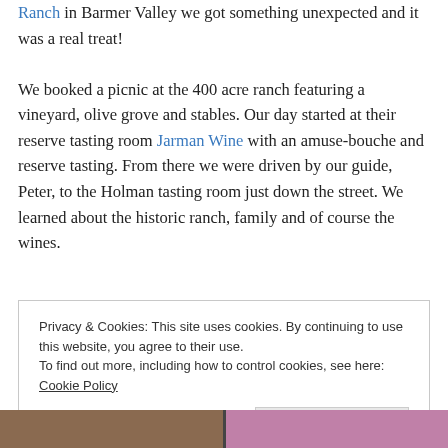Ranch in Barmer Valley we got something unexpected and it was a real treat! We booked a picnic at the 400 acre ranch featuring a vineyard, olive grove and stables. Our day started at their reserve tasting room Jarman Wine with an amuse-bouche and reserve tasting. From there we were driven by our guide, Peter, to the Holman tasting room just down the street. We learned about the historic ranch, family and of course the wines.
Privacy & Cookies: This site uses cookies. By continuing to use this website, you agree to their use. To find out more, including how to control cookies, see here: Cookie Policy
[Figure (photo): Bottom strip showing partial photos of people/scenes, left portion darker brown tones, right portion with pink/purple tones, separated by a dark divider]